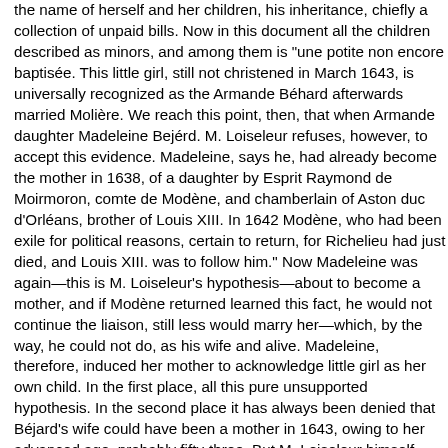the name of herself and her children, his inheritance, chiefly a collection of unpaid bills. Now in this document all the children described as minors, and among them is "une potite non encore baptisée. This little girl, still not christened in March 1643, is universally recognized as the Armande Béhard afterwards married Molière. We reach this point, then, that when Armande daughter Madeleine Bejérd. M. Loiseleur refuses, however, to accept this evidence. Madeleine, says he, had already become the mother in 1638, of a daughter by Esprit Raymond de Moirmoron, comte de Modène, and chamberlain of Aston duc d'Orléans, brother of Louis XIII. In 1642 Modène, who had been exile for political reasons, certain to return, for Richelieu had just died, and Louis XIII. was to follow him." Now Madeleine was again—this is M. Loiseleur's hypothesis—about to become a mother, and if Modène returned learned this fact, he would not continue the liaison, still less would marry her—which, by the way, he could not do, as his wife and alive. Madeleine, therefore, induced her mother to acknowledge little girl as her own child. In the first place, all this pure unsupported hypothesis. In the second place it has always been denied that Béjard's wife could have been a mother in 1643, owing to her advanced age, probably fifty-three. But M. Loiseleur himself says Marie Hervé was young enough to make the story "sufficiently probable." If it was probable, much more was it possible. M. Loiseleur supports his contention by pointing out that two of the other children described as legally minors, were over twenty-five, and that the